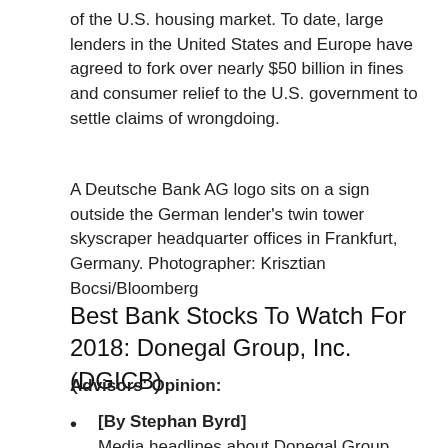of the U.S. housing market. To date, large lenders in the United States and Europe have agreed to fork over nearly $50 billion in fines and consumer relief to the U.S. government to settle claims of wrongdoing.
A Deutsche Bank AG logo sits on a sign outside the German lender's twin tower skyscraper headquarter offices in Frankfurt, Germany. Photographer: Krisztian Bocsi/Bloomberg
Best Bank Stocks To Watch For 2018: Donegal Group, Inc.(DGICB)
Advisors' Opinion:
[By Stephan Byrd] Media headlines about Donegal Group (NASDAQ:DGICB) have been trending somewhat